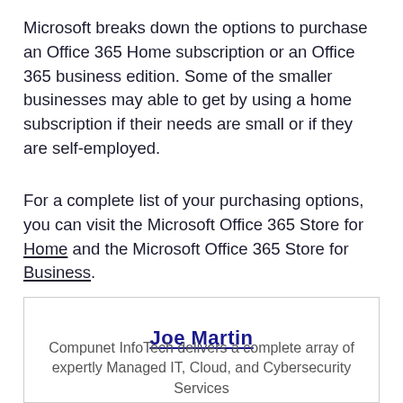Microsoft breaks down the options to purchase an Office 365 Home subscription or an Office 365 business edition. Some of the smaller businesses may able to get by using a home subscription if their needs are small or if they are self-employed.
For a complete list of your purchasing options, you can visit the Microsoft Office 365 Store for Home and the Microsoft Office 365 Store for Business.
[Figure (other): Author bio box with name Joe Martin and partial description text]
Joe Martin
Compunet InfoTech delivers a complete array of expertly Managed IT, Cloud, and Cybersecurity Services